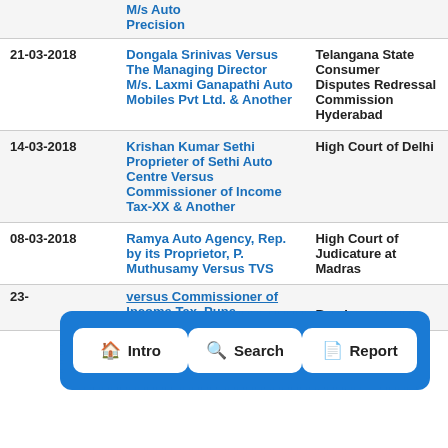| Date | Case | Court |
| --- | --- | --- |
|  | M/s Auto Precision |  |
| 21-03-2018 | Dongala Srinivas Versus The Managing Director M/s. Laxmi Ganapathi Auto Mobiles Pvt Ltd. & Another | Telangana State Consumer Disputes Redressal Commission Hyderabad |
| 14-03-2018 | Krishan Kumar Sethi Proprieter of Sethi Auto Centre Versus Commissioner of Income Tax-XX & Another | High Court of Delhi |
| 08-03-2018 | Ramya Auto Agency, Rep. by its Proprietor, P. Muthusamy Versus TVS | High Court of Judicature at Madras |
| 23- | versus Commissioner of Income Tax, Pune | Bombay |
[Figure (screenshot): Navigation bar with three buttons: Intro (home icon), Search (search icon), Report (document icon), shown as a blue rounded rectangle overlay with dashed border]